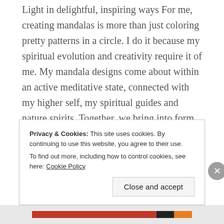Light in delightful, inspiring ways For me, creating mandalas is more than just coloring pretty patterns in a circle. I do it because my spiritual evolution and creativity require it of me. My mandala designs come about within an active meditative state, connected with my higher self, my spiritual guides and nature spirits. Together, we bring into form, mandala art the allows me to re-connect with my own inner peace and joy, letting me explore and expand my
Privacy & Cookies: This site uses cookies. By continuing to use this website, you agree to their use.
To find out more, including how to control cookies, see here: Cookie Policy
Close and accept